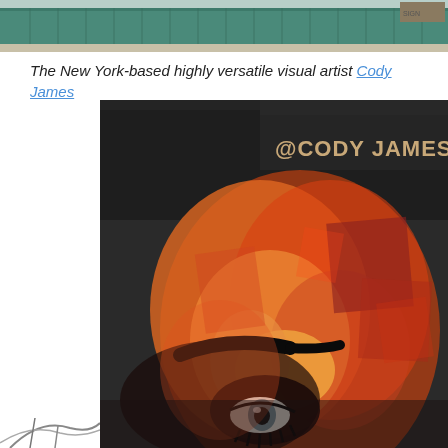[Figure (photo): Top portion of a street scene showing a building exterior with teal/green corrugated metal wall and pavement]
The New York-based highly versatile visual artist Cody James
[Figure (photo): Mural by @CodyJamesNY on a dark building wall showing a large close-up painted face with orange and red tones, dramatic eye with eyelashes visible, graffiti tag reading @CODY JAMES NY at the top]